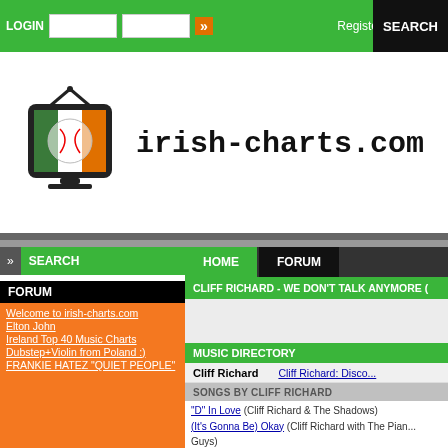LOGIN | [input] [input] >> | Register | SEARCH
[Figure (logo): irish-charts.com logo with Irish flag TV icon and pixelated text]
SEARCH
HOME | FORUM
CLIFF RICHARD - WE DON'T TALK ANYMORE (
FORUM
Welcome to irish-charts.com
Elton John
Ireland Top 40 Music Charts
Dubstep+Violin from Poland :)
FRANKIE HATEZ "QUIET PEOPLE"
MUSIC DIRECTORY
Cliff Richard    Cliff Richard: Disco...
SONGS BY CLIFF RICHARD
"D" In Love (Cliff Richard & The Shadows)
(It's Gonna Be) Okay (Cliff Richard with The Piano Guys)
(Wouldn't You Know It) Got Myself A Girl
(You Keep Me) Hanging On
21st Century Christmas
50 Tears For Every Kiss
A Brand New Song
A Forever Kind Of Love
A Girl In Every Port (Cliff Richard & The Shadows)
A Girl Like You (Cliff Richard & The Shadows)
A Heart Will Break
A Little Imagination (Cliff Richard & The Shadows)
A Little In Love
A Matter Of Moments (Cliff Richard & The Shadows)
A Mighty Lonely Man